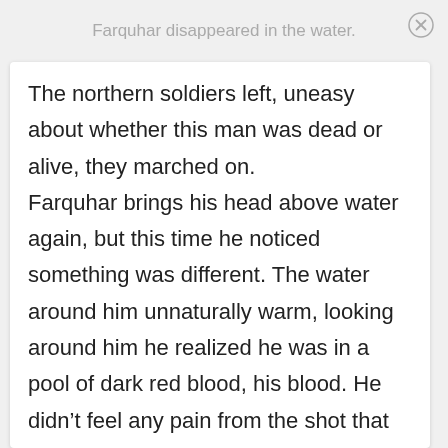Farquhar disappeared in the water.
The northern soldiers left, uneasy about whether this man was dead or alive, they marched on. Farquhar brings his head above water again, but this time he noticed something was different. The water around him unnaturally warm, looking around him he realized he was in a pool of dark red blood, his blood. He didn't feel any pain from the shot that was fired because his adrenaline was so high. Farquhar began to panic and